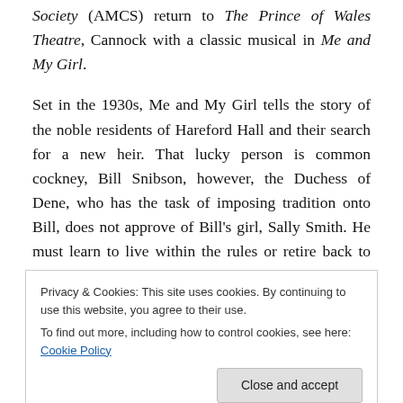Society (AMCS) return to The Prince of Wales Theatre, Cannock with a classic musical in Me and My Girl.
Set in the 1930s, Me and My Girl tells the story of the noble residents of Hareford Hall and their search for a new heir. That lucky person is common cockney, Bill Snibson, however, the Duchess of Dene, who has the task of imposing tradition onto Bill, does not approve of Bill's girl, Sally Smith. He must learn to live within the rules or retire back to Lambeth with an annuity.
Privacy & Cookies: This site uses cookies. By continuing to use this website, you agree to their use. To find out more, including how to control cookies, see here: Cookie Policy
Has Got His Hat On, Love Makes the World Go Round,